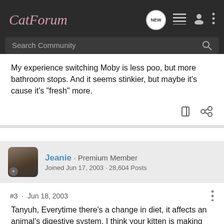CatForum
My experience switching Moby is less poo, but more bathroom stops. And it seems stinkier, but maybe it's cause it's "fresh" more.
Jeanie · Premium Member
Joined Jun 17, 2003 · 28,604 Posts
#3 · Jun 18, 2003
Tanyuh, Everytime there's a change in diet, it affects an animal's digestive system. I think your kitten is making the change too quickly. I guess she didn't read the book! LOL